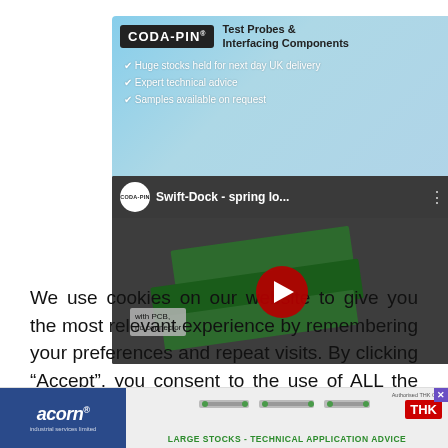[Figure (infographic): Coda-Pin advertisement banner for Test Probes & Interfacing Components. Light blue background with Coda-Pin logo, tagline, and bullet points: Huge stocks held for next day UK delivery, Expert technical advice, Samples available on request.]
[Figure (screenshot): YouTube video thumbnail showing Swift-Dock spring loaded connector with PCB, no connector. Dark background with green PCB boards and red play button in center.]
We use cookies on our website to give you the most relevant experience by remembering your preferences and repeat visits. By clicking “Accept”, you consent to the use of ALL the cookies.
[Figure (infographic): Acorn Industrial Services Limited and THK linear motion components advertisement banner at bottom. Blue section with Acorn logo on left, grey section with THK rail images and 'LARGE STOCKS - TECHNICAL APPLICATION ADVICE' tagline, THK logo on right with Authorised THK text and close X button.]